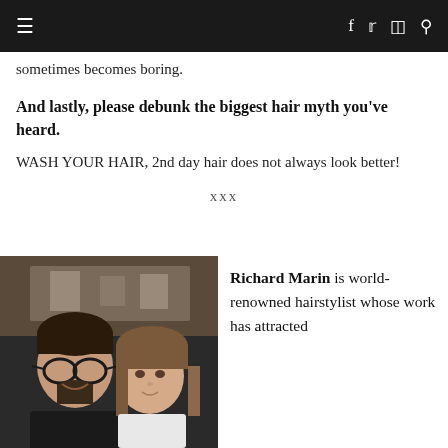≡   f  t  ⊡  🔍
sometimes becomes boring.
And lastly, please debunk the biggest hair myth you've heard.
WASH YOUR HAIR, 2nd day hair does not always look better!
xxx
[Figure (photo): Photo of two people (man with glasses and beard, woman with brown hair) taking a selfie in what appears to be a restaurant or bar setting]
Richard Marin is world-renowned hairstylist whose work has attracted